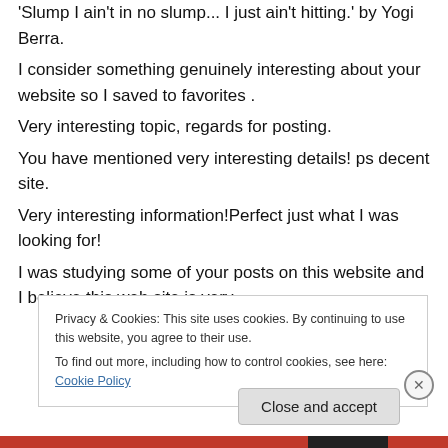'Slump I ain't in no slump... I just ain't hitting.' by Yogi Berra.
I consider something genuinely interesting about your website so I saved to favorites .
Very interesting topic, regards for posting.
You have mentioned very interesting details! ps decent site.
Very interesting information!Perfect just what I was looking for!
I was studying some of your posts on this website and I believe this web site is very
Privacy & Cookies: This site uses cookies. By continuing to use this website, you agree to their use.
To find out more, including how to control cookies, see here: Cookie Policy